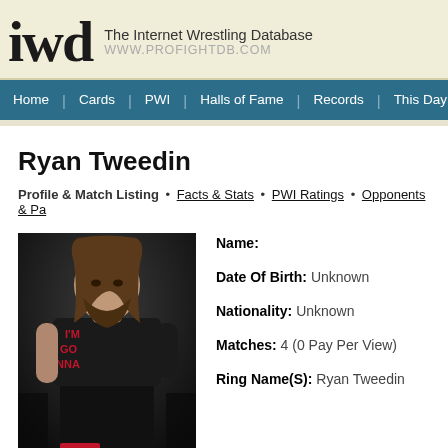iwd The Internet Wrestling Database WWW.PROFIGHTDB.COM
Home | Cards | PWI | Halls of Fame | Records | This Day in History | Oth
Ryan Tweedin
Profile & Match Listing • Facts & Stats • PWI Ratings • Opponents & Pa
[Figure (photo): Photo of Ryan Tweedin, a man with long hair and beard wearing a black t-shirt that reads 'I'M GONNA' in red text, standing in a wrestling venue]
Name:
Date Of Birth: Unknown
Nationality: Unknown
Matches: 4 (0 Pay Per View)
Ring Name(S): Ryan Tweedin